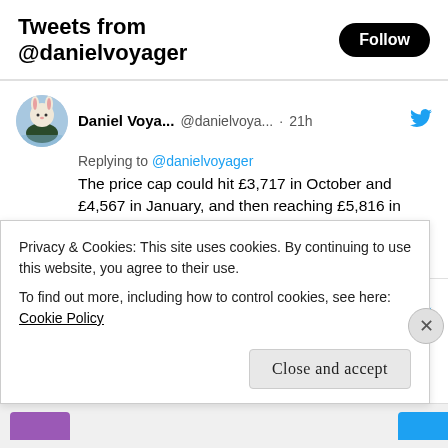Tweets from @danielvoyager
[Figure (screenshot): Tweet from Daniel Voya... @danielvoya... · 21h replying to @danielvoyager: The price cap could hit £3,717 in October and £4,567 in January, and then reaching £5,816 in April.]
[Figure (screenshot): Tweet from Daniel Voya... @danielvoya... · 21h: Unbelievable the UK inflation rate to set to reach 18% in early 2023 apparently. How]
Privacy & Cookies: This site uses cookies. By continuing to use this website, you agree to their use.
To find out more, including how to control cookies, see here: Cookie Policy